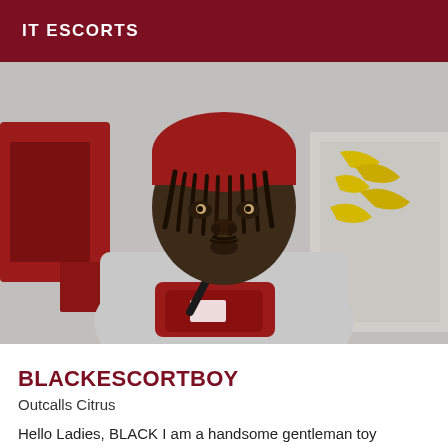IT ESCORTS
[Figure (photo): Young man wearing a red beanie hat with braided hair, grey sweatshirt, and a red crossbody fanny pack bag. Background shows graffiti and what appears to be an outdoor or transit setting.]
BLACKESCORTBOY
Outcalls Citrus
Hello Ladies, BLACK I am a handsome gentleman toy